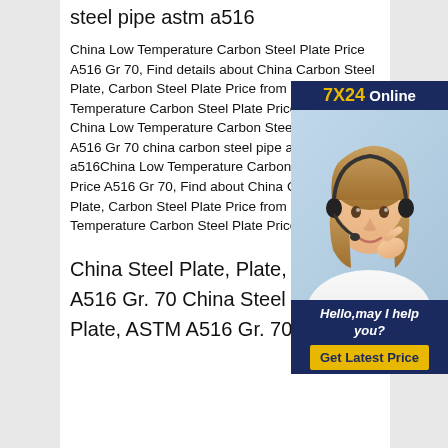steel pipe astm a516
China Low Temperature Carbon Steel Plate Price A516 Gr 70, Find details about China Carbon Steel Plate, Carbon Steel Plate Price from Low Temperature Carbon Steel Plate Price A516 Gr 70 China Low Temperature Carbon Steel Plate Price A516 Gr 70 china carbon steel pipe astm a516China Low Temperature Carbon Steel Plate Price A516 Gr 70, Find about China Carbon Steel Plate, Carbon Steel Plate Price from Low Temperature Carbon Steel Plate Price A516 Gr 70
[Figure (photo): Customer service representative wearing headset with '7X24 Online' header and 'Hello, may I help you?' text and 'Get Latest Price' button]
China Steel Plate, Plate, ASTM A516 Gr. 70 China Steel Plate, Plate, ASTM A516 Gr. 70